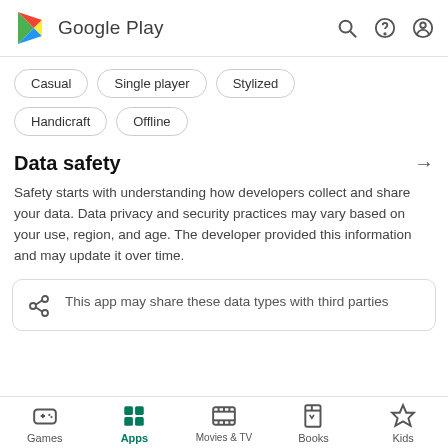Google Play
Casual
Single player
Stylized
Handicraft
Offline
Data safety
Safety starts with understanding how developers collect and share your data. Data privacy and security practices may vary based on your use, region, and age. The developer provided this information and may update it over time.
This app may share these data types with third parties
Games | Apps | Movies & TV | Books | Kids